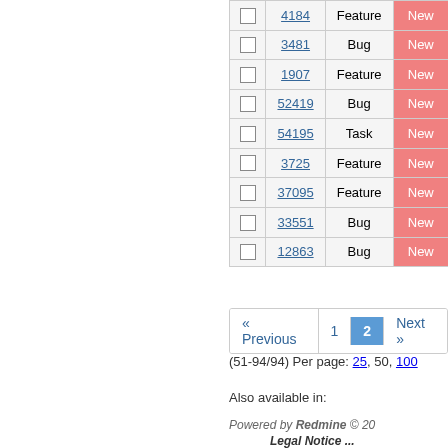|  | # | Type | Status |
| --- | --- | --- | --- |
| ☐ | 4184 | Feature | New |
| ☐ | 3481 | Bug | New |
| ☐ | 1907 | Feature | New |
| ☐ | 52419 | Bug | New |
| ☐ | 54195 | Task | New |
| ☐ | 3725 | Feature | New |
| ☐ | 37095 | Feature | New |
| ☐ | 33551 | Bug | New |
| ☐ | 12863 | Bug | New |
(51-94/94) Per page: 25, 50, 100
Also available in:
Powered by Redmine © 20...
Legal Notice ...